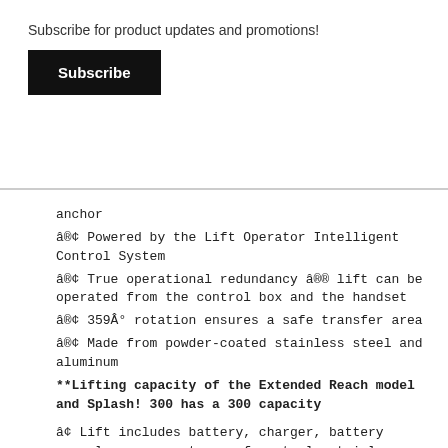Subscribe for product updates and promotions!
Subscribe
anchor
â®¢ Powered by the Lift Operator Intelligent Control System
â®¢ True operational redundancy â®® lift can be operated from the control box and the handset
â®¢ 359Â° rotation ensures a safe transfer area
â®¢ Made from powder-coated stainless steel and aluminum
**Lifting capacity of the Extended Reach model and Splash! 300 has a 300 capacity
â¢ Lift includes battery, charger, battery console cover, waterproof control, stainless steel anchor socket with cover, footrest and seat